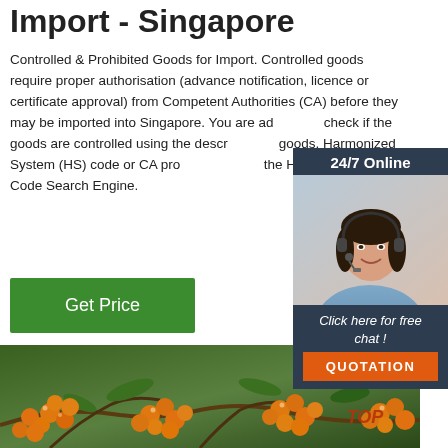Import - Singapore
Controlled & Prohibited Goods for Import. Controlled goods require proper authorisation (advance notification, licence or certificate approval) from Competent Authorities (CA) before they may be imported into Singapore. You are advised to check if the goods are controlled using the description of goods, Harmonized System (HS) code or CA product code via the HS/CA Product Code Search Engine.
[Figure (other): Green 'Get Price' button]
[Figure (other): Sidebar widget with '24/7 Online' header, photo of a woman with headset smiling, text 'Click here for free chat !' and orange QUOTATION button]
[Figure (photo): Close-up photo of orange sea buckthorn berries on branches with green leaves. A 'TOP' badge with dots appears in the lower right corner.]